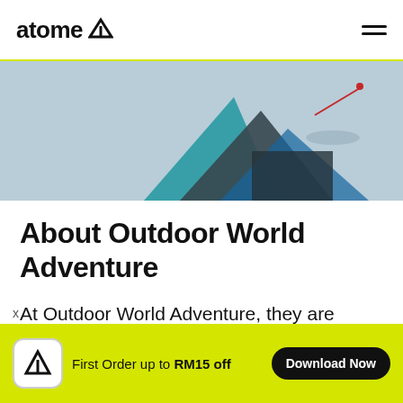atome
[Figure (photo): Partial view of outdoor/adventure gear (tent or equipment) in blue and dark grey tones on a light blue-grey background]
About Outdoor World Adventure
At Outdoor World Adventure, they are accomplished sportsmen and
First Order up to RM15 off  Download Now